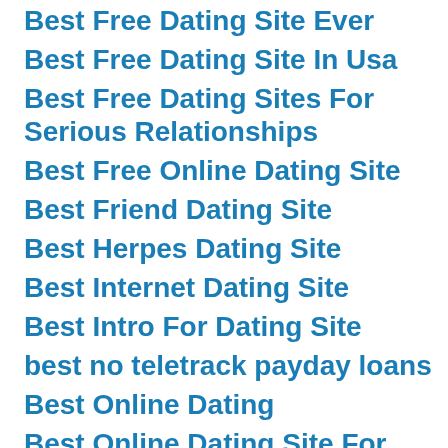Best Free Dating Site Ever
Best Free Dating Site In Usa
Best Free Dating Sites For Serious Relationships
Best Free Online Dating Site
Best Friend Dating Site
Best Herpes Dating Site
Best Internet Dating Site
Best Intro For Dating Site
best no teletrack payday loans
Best Online Dating
Best Online Dating Site For Men